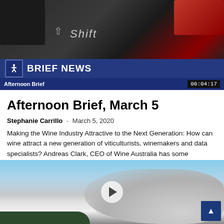[Figure (photo): Close-up of a dark computer keyboard with a red key visible in the upper right corner]
BRIEF NEWS
Afternoon Brief  00:04:17
Afternoon Brief, March 5
Stephanie Carrillo  -  March 5, 2020
Making the Wine Industry Attractive to the Next Generation: How can wine attract a new generation of viticulturists, winemakers and data specialists? Andreas Clark, CEO of Wine Australia has some thoughts...
[Figure (photo): Wildfire smoke plume rising against a blue sky with tree line at the bottom, showing a play button overlay]